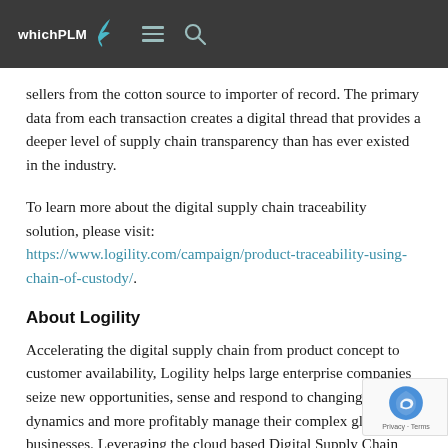whichPLM [navigation header]
sellers from the cotton source to importer of record. The primary data from each transaction creates a digital thread that provides a deeper level of supply chain transparency than has ever existed in the industry.
To learn more about the digital supply chain traceability solution, please visit: https://www.logility.com/campaign/product-traceability-using-chain-of-custody/.
About Logility
Accelerating the digital supply chain from product concept to customer availability, Logility helps large enterprise companies seize new opportunities, sense and respond to changing dynamics and more profitably manage their complex global businesses. Leveraging the cloud based Digital Supply Chain